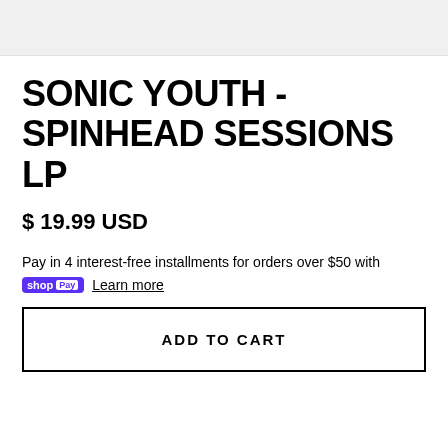[Figure (photo): Product image area (gray background, top of page)]
SONIC YOUTH - SPINHEAD SESSIONS LP
$ 19.99 USD
Pay in 4 interest-free installments for orders over $50 with shop Pay Learn more
ADD TO CART